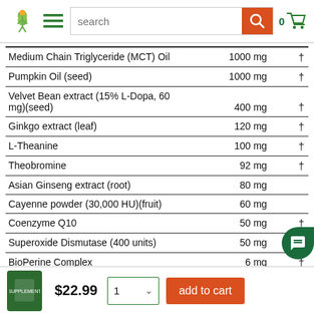search bar header with logo, hamburger menu, search, and cart
| Ingredient | Amount | † |
| --- | --- | --- |
| Medium Chain Triglyceride (MCT) Oil | 1000 mg | † |
| Pumpkin Oil (seed) | 1000 mg | † |
| Velvet Bean extract (15% L-Dopa, 60 mg)(seed) | 400 mg | † |
| Ginkgo extract (leaf) | 120 mg | † |
| L-Theanine | 100 mg | † |
| Theobromine | 92 mg | † |
| Asian Ginseng extract (root) | 80 mg | † |
| Cayenne powder (30,000 HU)(fruit) | 60 mg | † |
| Coenzyme Q10 | 50 mg | † |
| Superoxide Dismutase (400 units) | 50 mg | † |
| BioPerine Complex | 6 mg | † |
|    BioPerine® Black Pepper extract (95% |  |  |
$22.99   1   add to cart